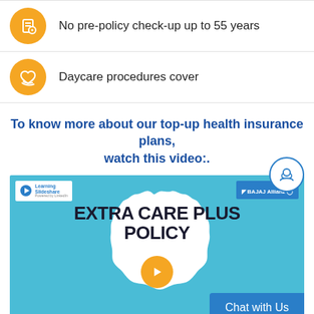No pre-policy check-up up to 55 years
Daycare procedures cover
To know more about our top-up health insurance plans, watch this video:.
[Figure (screenshot): Video thumbnail for Extra Care Plus Policy by Bajaj Allianz with a play button overlay, teal background, Learning Slideshare logo, and Bajaj Allianz logo. Large bold text reads EXTRA CARE PLUS POLICY.]